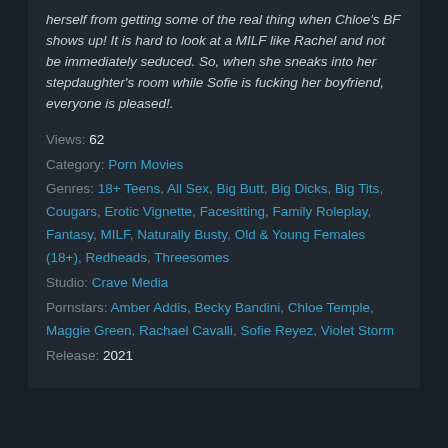herself from getting some of the real thing when Chloe's BF shows up! It is hard to look at a MILF like Rachel and not be immediately seduced. So, when she sneaks into her stepdaughter's room while Sofie is fucking her boyfriend, everyone is pleased!.
Views: 62
Category: Porn Movies
Genres: 18+ Teens, All Sex, Big Butt, Big Dicks, Big Tits, Cougars, Erotic Vignette, Facesitting, Family Roleplay, Fantasy, MILF, Naturally Busty, Old & Young Females (18+), Redheads, Threesomes
Studio: Crave Media
Pornstars: Amber Addis, Becky Bandini, Chloe Temple, Maggie Green, Rachael Cavalli, Sofie Reyez, Violet Storm
Release: 2021